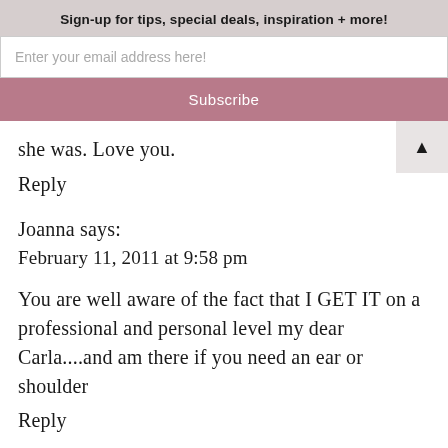Sign-up for tips, special deals, inspiration + more!
Enter your email address here!
Subscribe
she was. Love you.
Reply
Joanna says:
February 11, 2011 at 9:58 pm
You are well aware of the fact that I GET IT on a professional and personal level my dear Carla....and am there if you need an ear or shoulder
Reply